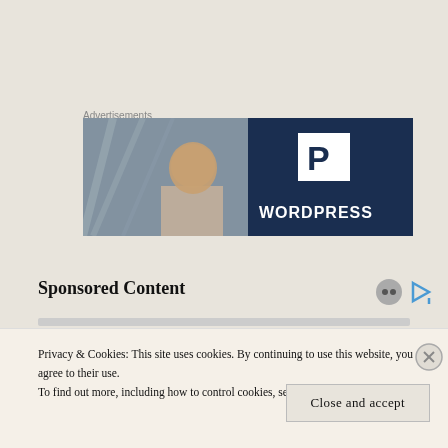Advertisements
[Figure (screenshot): WordPress advertisement banner with a smiling person on the left (blurred storefront background) and the WordPress logo (P icon) with 'WORDPRESS' text on dark navy background on the right.]
Sponsored Content
Privacy & Cookies: This site uses cookies. By continuing to use this website, you agree to their use.
To find out more, including how to control cookies, see here: Cookie Policy
Close and accept